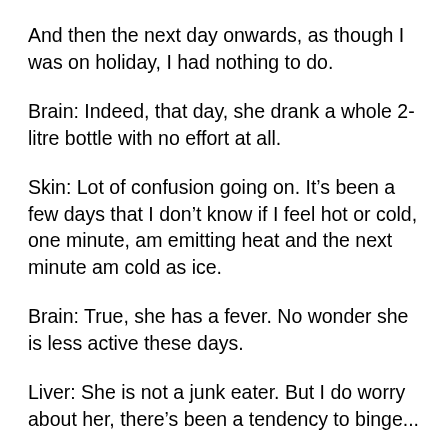And then the next day onwards, as though I was on holiday, I had nothing to do.
Brain: Indeed, that day, she drank a whole 2-litre bottle with no effort at all.
Skin: Lot of confusion going on. It’s been a few days that I don’t know if I feel hot or cold, one minute, am emitting heat and the next minute am cold as ice.
Brain: True, she has a fever. No wonder she is less active these days.
Liver: She is not a junk eater. But I do worry about her, there’s been a tendency to binge...